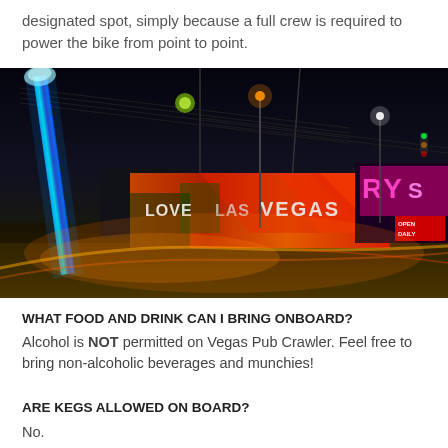designated spot, simply because a full crew is required to power the bike from point to point.
[Figure (photo): Night time street photo of Las Vegas with colorful 'LOVE LAS VEGAS' mural on a building, neon lights, a tall illuminated blue sculptural tower on the left, and street lights creating light trails]
WHAT FOOD AND DRINK CAN I BRING ONBOARD?
Alcohol is NOT permitted on Vegas Pub Crawler. Feel free to bring non-alcoholic beverages and munchies!
ARE KEGS ALLOWED ON BOARD?
No.